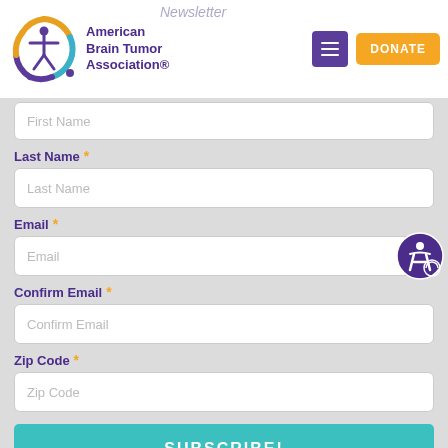[Figure (logo): American Brain Tumor Association logo with circular multicolor ring and figure]
American Brain Tumor Association®
Newsletter
DONATE
First Name
Last Name *
Last Name
Email *
Email
Confirm Email *
Confirm Email
Zip Code *
Zip Code
SUBSCRIBE!
English